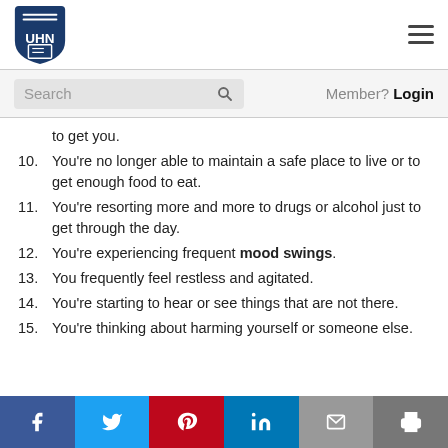UHN logo and navigation menu
Search | Member? Login
to get you.
10. You're no longer able to maintain a safe place to live or to get enough food to eat.
11. You're resorting more and more to drugs or alcohol just to get through the day.
12. You're experiencing frequent mood swings.
13. You frequently feel restless and agitated.
14. You're starting to hear or see things that are not there.
15. You're thinking about harming yourself or someone else.
Facebook, Twitter, Pinterest, LinkedIn, Email, Print